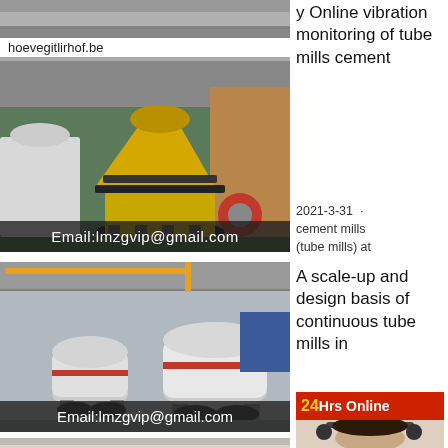[Figure (photo): Top strip of industrial machinery in a factory, partially visible]
hoevegitlirhof.be
[Figure (photo): Yellow and black cone crusher / mining machinery in an industrial warehouse. Email:lmzgvip@gmail.com overlay at bottom.]
y Online vibration monitoring of tube mills cement
2021-3-31 · cement mills (tube mills) at
[Figure (photo): White industrial tube mills / continuous ball mills in a large factory. Email:lmzgvip@gmail.com overlay at bottom.]
A scale-up and design basis of continuous tube mills in
24Hrs Online
[Figure (photo): Customer service representative with headset, partially visible]
[Figure (photo): Partial view of white industrial machinery, bottom strip]